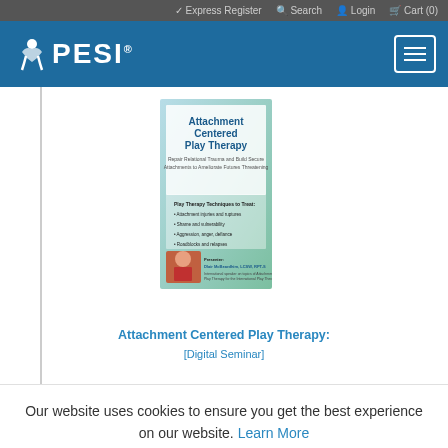✓ Express Register  🔍 Search  👤 Login  🛒 Cart (0)
[Figure (logo): PESI logo with running figure icon on blue header bar with hamburger menu button]
[Figure (illustration): Book cover for 'Attachment Centered Play Therapy' by Dlair McBeardhim, LCSW, RPT-S]
Attachment Centered Play Therapy:
[Digital Seminar]
Our website uses cookies to ensure you get the best experience on our website. Learn More
OK, I GOT IT!   No thank you.